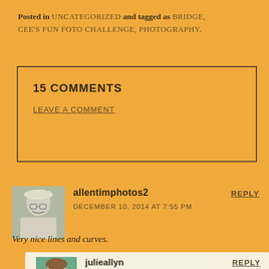Posted in UNCATEGORIZED and tagged as BRIDGE, CEE'S FUN FOTO CHALLENGE, PHOTOGRAPHY.
15 COMMENTS
LEAVE A COMMENT
allentimphotos2
DECEMBER 10, 2014 AT 7:55 PM
REPLY
Very nice lines and curves.
julieallyn
DECEMBER 10, 2014 AT 8:31 PM
REPLY